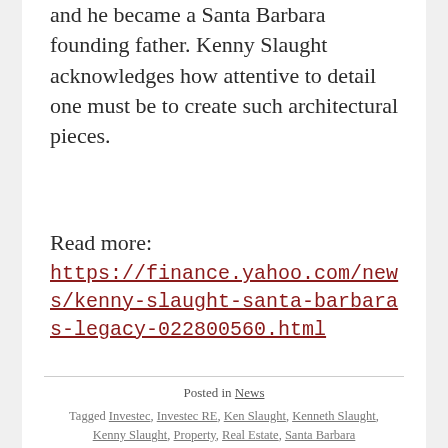and he became a Santa Barbara founding father. Kenny Slaught acknowledges how attentive to detail one must be to create such architectural pieces.
Read more: https://finance.yahoo.com/news/kenny-slaught-santa-barbaras-legacy-022800560.html
Posted in News
Tagged Investec, Investec RE, Ken Slaught, Kenneth Slaught, Kenny Slaught, Property, Real Estate, Santa Barbara
Leave a comment